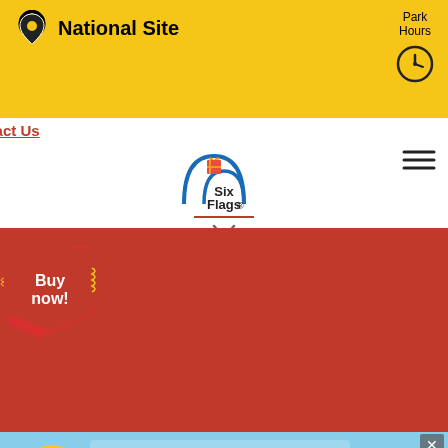National Site
Park Hours
Contact Us
[Figure (logo): Six Flags logo with roller coaster and presents graphic]
Buy now!
Terms of Use
Privacy Policy
[Figure (illustration): YouTube play button icon in white on dark red background]
#mysixflags
2022 See Copyright Info
[Figure (illustration): M&Ms advertisement banner - more zero gravity, showing M&M characters in space chains]